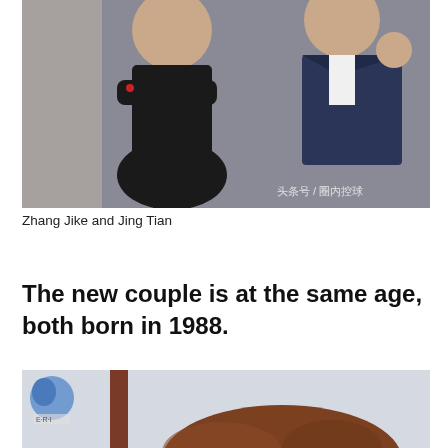[Figure (photo): Photo of Zhang Jike and Jing Tian together. A woman in a black outfit on the left and a man in a dark blue jacket on the right. Chinese watermark text visible in lower right corner reading 头条号/圈内控球.]
Zhang Jike and Jing Tian
The new couple is at the same age, both born in 1988.
[Figure (photo): Partial photo showing the top of a person's head with brown/auburn curly hair, against a light background. A logo visible in top-left corner.]